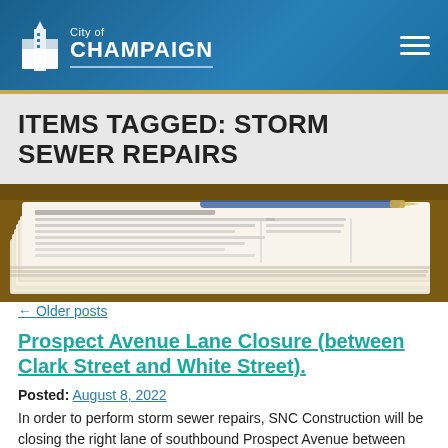City of CHAMPAIGN
ITEMS TAGGED: STORM SEWER REPAIRS
[Figure (photo): Stack of newspapers on a wooden surface]
← Older posts
Prospect Avenue Lane Closure (between Clark Street and White Street)
Posted: August 8, 2022
In order to perform storm sewer repairs, SNC Construction will be closing the right lane of southbound Prospect Avenue between Clark Street and White Street. Travel through the work zone area will be merged into a single southbound lane. Northbound Prospect Avenue will be unaffected by this project. White Street west of